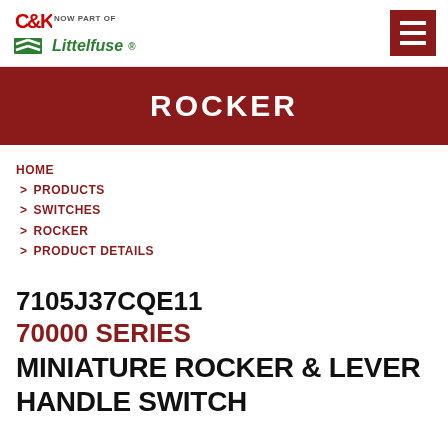C&K NOW PART OF Littelfuse
ROCKER
HOME
> PRODUCTS
> SWITCHES
> ROCKER
> PRODUCT DETAILS
7105J37CQE11
70000 SERIES
MINIATURE ROCKER & LEVER HANDLE SWITCH